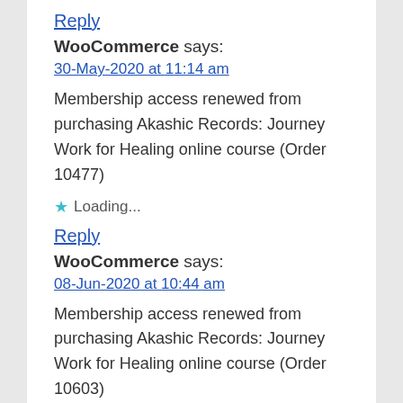Reply
WooCommerce says:
30-May-2020 at 11:14 am
Membership access renewed from purchasing Akashic Records: Journey Work for Healing online course (Order 10477)
★ Loading...
Reply
WooCommerce says:
08-Jun-2020 at 10:44 am
Membership access renewed from purchasing Akashic Records: Journey Work for Healing online course (Order 10603)